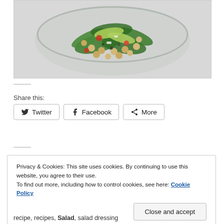[Figure (photo): Overhead view of a glass bowl filled with a salad containing spinach, chickpeas, avocado, tomatoes, and other vegetables on a light background.]
Share this:
Twitter  Facebook  More
Privacy & Cookies: This site uses cookies. By continuing to use this website, you agree to their use.
To find out more, including how to control cookies, see here: Cookie Policy

Close and accept
recipe, recipes, Salad, salad dressing